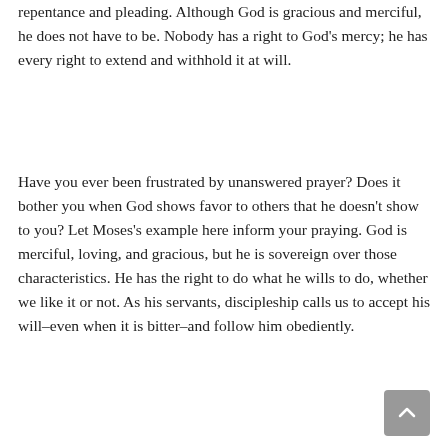repentance and pleading. Although God is gracious and merciful, he does not have to be. Nobody has a right to God's mercy; he has every right to extend and withhold it at will.
Have you ever been frustrated by unanswered prayer? Does it bother you when God shows favor to others that he doesn't show to you? Let Moses's example here inform your praying. God is merciful, loving, and gracious, but he is sovereign over those characteristics. He has the right to do what he wills to do, whether we like it or not. As his servants, discipleship calls us to accept his will–even when it is bitter–and follow him obediently.